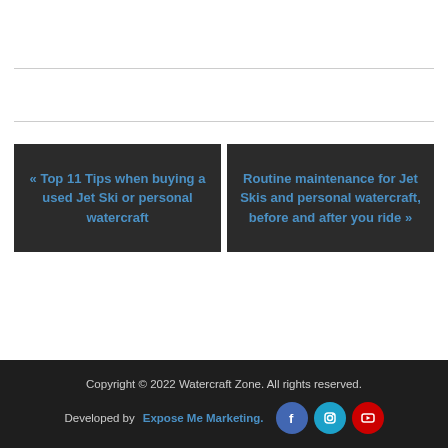« Top 11 Tips when buying a used Jet Ski or personal watercraft
Routine maintenance for Jet Skis and personal watercraft, before and after you ride »
Copyright © 2022 Watercraft Zone. All rights reserved. Developed by Expose Me Marketing.